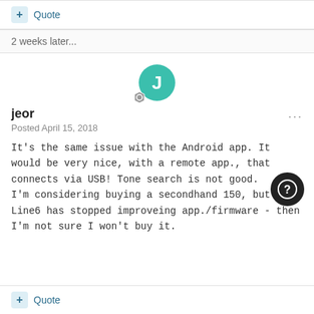+ Quote
2 weeks later...
[Figure (illustration): User avatar: teal circle with white letter J, with a hexagonal badge icon]
jeor
Posted April 15, 2018
It's the same issue with the Android app. It would be very nice, with a remote app., that connects via USB! Tone search is not good.
I'm considering buying a secondhand 150, but if Line6 has stopped improveing app./firmware - then I'm not sure I won't buy it.
+ Quote